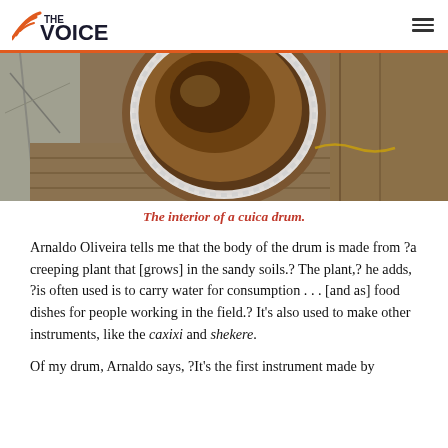THE VOICE
[Figure (photo): Close-up photograph showing the interior of a cuica drum — a round wooden drum body with a white rope/bead ring around the top edge, resting on a wooden surface with bare branches visible in the background.]
The interior of a cuica drum.
Arnaldo Oliveira tells me that the body of the drum is made from ?a creeping plant that [grows] in the sandy soils.? The plant,? he adds, ?is often used is to carry water for consumption . . . [and as] food dishes for people working in the field.? It's also used to make other instruments, like the caxixi and shekere.
Of my drum, Arnaldo says, ?It's the first instrument made by